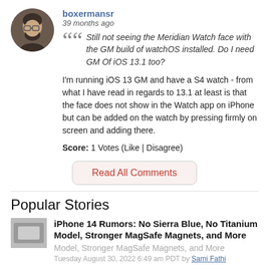[Figure (photo): Circular avatar photo of user boxermansr, a man with beard and glasses]
boxermansr
39 months ago
Still not seeing the Meridian Watch face with the GM build of watchOS installed. Do I need GM Of iOS 13.1 too?
I'm running iOS 13 GM and have a S4 watch - from what I have read in regards to 13.1 at least is that the face does not show in the Watch app on iPhone but can be added on the watch by pressing firmly on screen and adding there.
Score: 1 Votes (Like | Disagree)
Read All Comments
Popular Stories
iPhone 14 Rumors: No Sierra Blue, No Titanium Model, Stronger MagSafe Magnets, and More
Tuesday August 30, 2022 6:49 am PDT by Sami Fathi